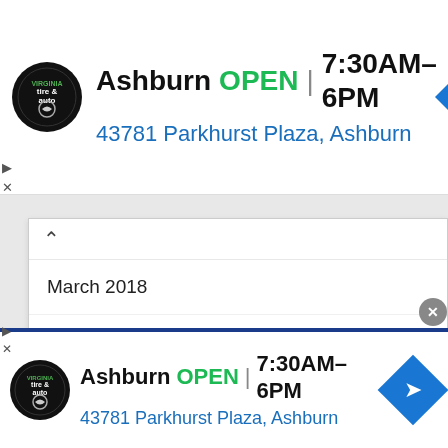[Figure (screenshot): Top advertisement banner: Virginia Tire & Auto logo, 'Ashburn OPEN | 7:30AM-6PM', '43781 Parkhurst Plaza, Ashburn', blue navigation arrow icon]
March 2018
February 2018
January 2018
CATEGORIES
#TBT
infolinks  40
[Figure (screenshot): Bottom advertisement banner: Virginia Tire & Auto logo, 'Ashburn OPEN | 7:30AM-6PM', '43781 Parkhurst Plaza, Ashburn', blue navigation arrow icon, with close (x) button]